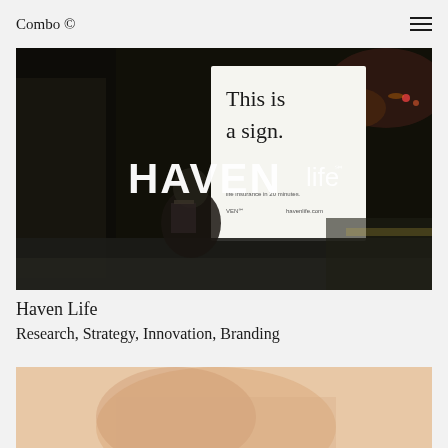Combo ©
[Figure (photo): Nighttime street photo showing a bus stop advertisement for Haven Life insurance with a large billboard reading 'This is a sign.' and the Haven Life logo overlaid in white text over the image]
Haven Life
Research, Strategy, Innovation, Branding
[Figure (photo): Partial view of a person with warm skin tones against a peach/beige background]